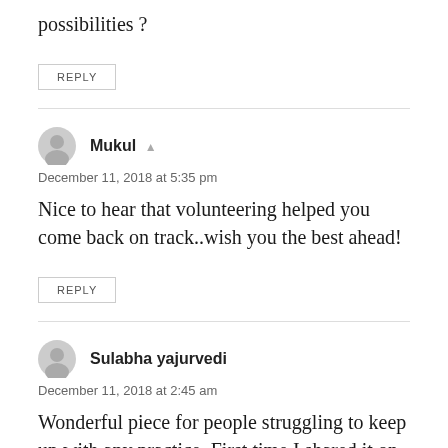possibilities ?
REPLY
Mukul
December 11, 2018 at 5:35 pm
Nice to hear that volunteering helped you come back on track..wish you the best ahead!
REPLY
Sulabha yajurvedi
December 11, 2018 at 2:45 am
Wonderful piece for people struggling to keep up with any practice. First time I shared it on face